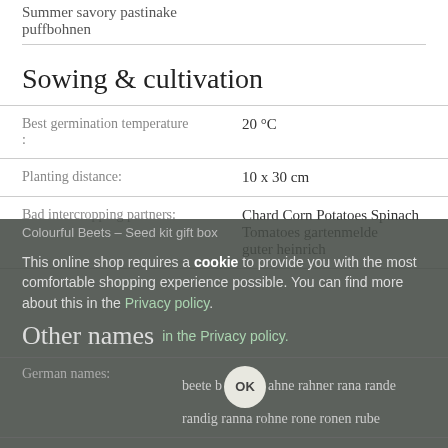Summer savory pastinake puffbohnen
Sowing & cultivation
| Best germination temperature: | 20 °C |
| Planting distance: | 10 x 30 cm |
| Bad intercropping partners: | Chard Corn Potatoes Spinach Tomatoes gartenmelde guter heinrich |
Colourful Beets – Seed kit gift box
This online shop requires a cookie to provide you with the most comfortable shopping experience possible. You can find more about this in the Privacy policy.
Other names
| German names: | beete b ahne rahner rana rande randig ranna rohne rone ronen rube |